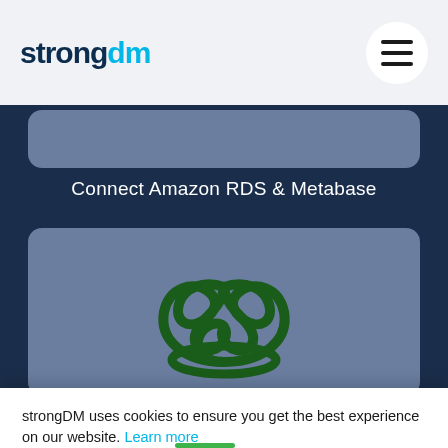strongdm
Connect Amazon RDS & Metabase
[Figure (logo): strongDM trefoil knot logo in dark green on gray card background]
strongDM uses cookies to ensure you get the best experience on our website. Learn more
Got it!